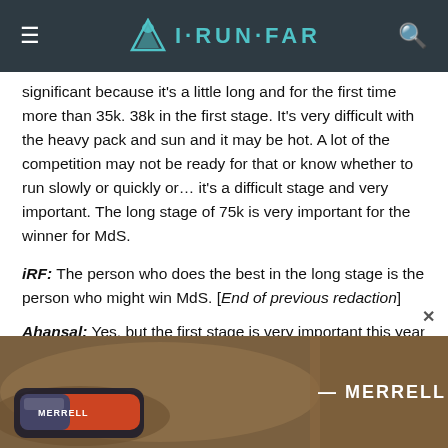I·RUN·FAR
significant because it's a little long and for the first time more than 35k. 38k in the first stage. It's very difficult with the heavy pack and sun and it may be hot. A lot of the competition may not be ready for that or know whether to run slowly or quickly or… it's a difficult stage and very important. The long stage of 75k is very important for the winner for MdS.
iRF: The person who does the best in the long stage is the person who might win MdS. [End of previous redaction]
Ahansal: Yes, but the first stage is very important this year—very, very important.
[Figure (photo): Merrell shoe advertisement showing a running shoe on trail ground with the Merrell brand name]